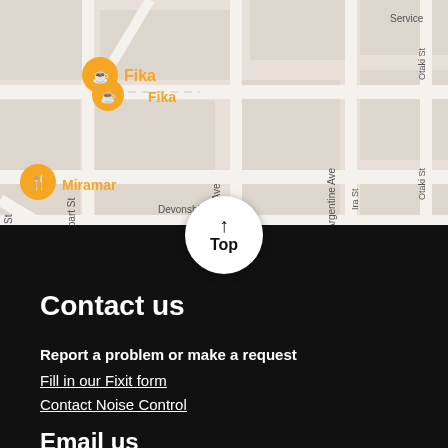[Figure (map): Google Maps screenshot showing streets in Miramar area, Wellington, NZ. Visible streets include Kauri St, Hobart St, Aparima Ave, Argentine Ave, Devonshire Rd, Ira St, Otaki St. Map pins for Fika (orange coffee cup) and Miramar (orange restaurant icon) are visible. A white circular 'Top' button with upward arrow overlays the bottom center of the map.]
Contact us
Report a problem or make a request
Fill in our Fixit form
Contact Noise Control
Email us